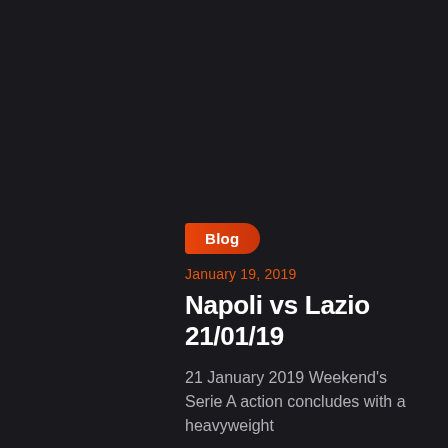Blog
January 19, 2019
Napoli vs Lazio 21/01/19
21 January 2019 Weekend's Serie A action concludes with a heavyweight